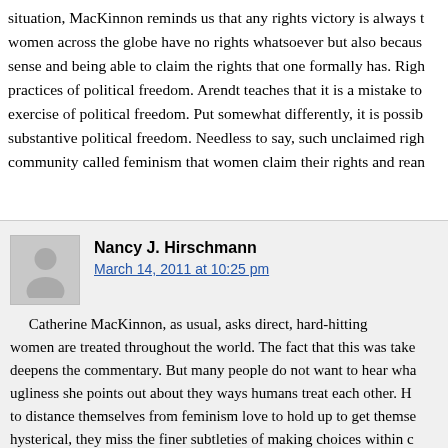situation, MacKinnon reminds us that any rights victory is always t… women across the globe have no rights whatsoever but also becaus… sense and being able to claim the rights that one formally has. Righ… practices of political freedom. Arendt teaches that it is a mistake to… exercise of political freedom. Put somewhat differently, it is possib… substantive political freedom. Needless to say, such unclaimed righ… community called feminism that women claim their rights and rean…
Nancy J. Hirschmann
March 14, 2011 at 10:25 pm
Catherine MacKinnon, as usual, asks direct, hard-hitting… women are treated throughout the world. The fact that this was take… deepens the commentary. But many people do not want to hear wha… ugliness she points out about they ways humans treat each other. H… to distance themselves from feminism love to hold up to get themse… hysterical, they miss the finer subtleties of making choices within c… religion, or culture, or tradition. They make strident claims and insi… uncomfortable as MacKinnon often makes many people, she's usua…